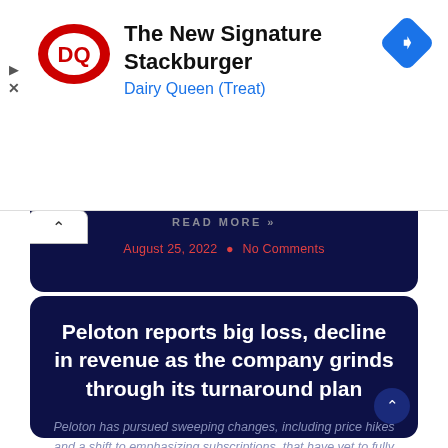[Figure (logo): Dairy Queen advertisement banner with DQ logo, 'The New Signature Stackburger' headline, 'Dairy Queen (Treat)' subtext, and navigation arrow icon]
READ MORE »
August 25, 2022 • No Comments
Peloton reports big loss, decline in revenue as the company grinds through its turnaround plan
Peloton has pursued sweeping changes, including price hikes and a shift to emphasizing subscriptions, that have yet to fully pay off.
READ MORE »